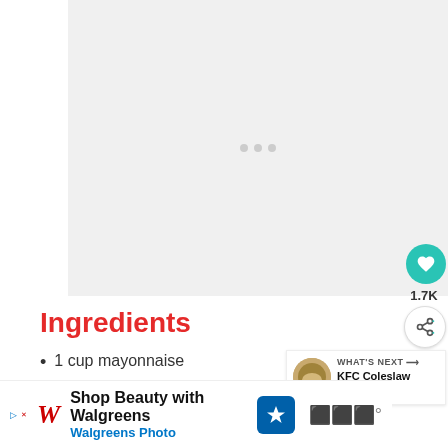[Figure (photo): Loading placeholder for recipe photo — light gray background with three gray dots indicating content loading]
Ingredients
1 cup mayonnaise
4 teasoons white vinegar
¼ cup granulated sugar
[Figure (other): WHAT'S NEXT card: KFC Coleslaw Recipe with thumbnail]
[Figure (other): Walgreens advertisement banner: Shop Beauty with Walgreens — Walgreens Photo]